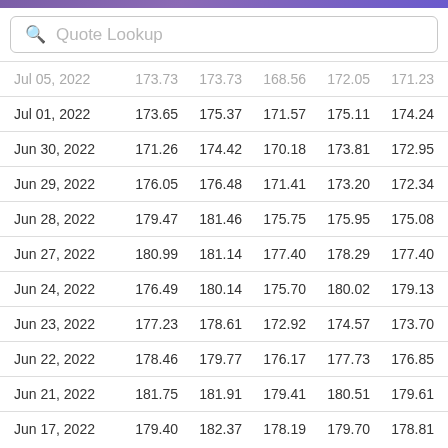Quote Lookup
| Date | Open | High | Low | Close | Adj Close | Volume |
| --- | --- | --- | --- | --- | --- | --- |
| Jul 05, 2022 | 173.73 | 173.73 | 168.56 | 172.05 | 171.23 | 3,34… |
| Jul 01, 2022 | 173.65 | 175.37 | 171.57 | 175.11 | 174.24 | 1,97… |
| Jun 30, 2022 | 171.26 | 174.42 | 170.18 | 173.81 | 172.95 | 2,87… |
| Jun 29, 2022 | 176.05 | 176.48 | 171.41 | 173.20 | 172.34 | 2,428 |
| Jun 28, 2022 | 179.47 | 181.46 | 175.75 | 175.95 | 175.08 | 3,18… |
| Jun 27, 2022 | 180.99 | 181.14 | 177.40 | 178.29 | 177.40 | 2,600 |
| Jun 24, 2022 | 176.49 | 180.14 | 175.70 | 180.02 | 179.13 | 4,155 |
| Jun 23, 2022 | 177.23 | 178.61 | 172.92 | 174.57 | 173.70 | 3,33… |
| Jun 22, 2022 | 178.46 | 179.77 | 176.17 | 177.73 | 176.85 | 2,906 |
| Jun 21, 2022 | 181.75 | 181.91 | 179.41 | 180.51 | 179.61 | 2,935 |
| Jun 17, 2022 | 179.40 | 182.37 | 178.19 | 179.70 | 178.81 | 5,63… |